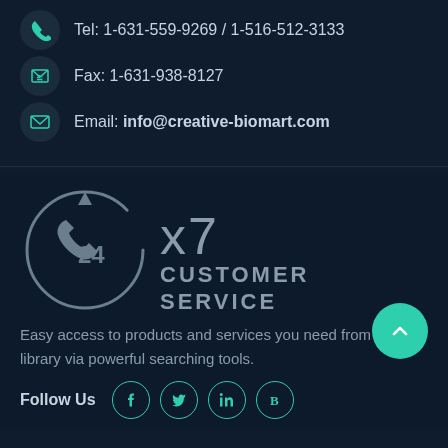Tel: 1-631-559-9269 / 1-516-512-3133
Fax: 1-631-938-8127
Email: info@creative-biomart.com
[Figure (illustration): 24x7 customer service icon: a circular arrow around a telephone handset with '24' in the center, and 'x7 CUSTOMER SERVICE' text to the right]
Easy access to products and services you need from our library via powerful searching tools.
Follow Us